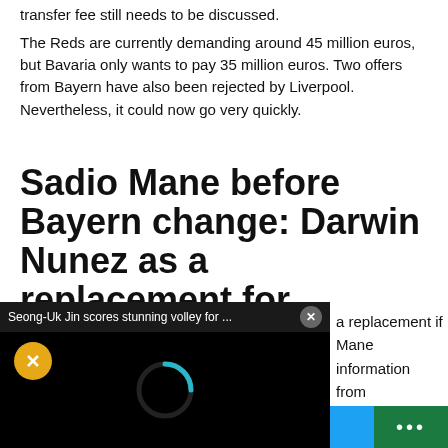transfer fee still needs to be discussed.
The Reds are currently demanding around 45 million euros, but Bavaria only wants to pay 35 million euros. Two offers from Bayern have also been rejected by Liverpool. Nevertheless, it could now go very quickly.
Sadio Mane before Bayern change: Darwin Nunez as a replacement for Liverpool?
[Figure (screenshot): Video popup overlay showing 'Seong-Uk Jin scores stunning volley for ...' with a close button (X), black video player area with a yellow mute button and a teal/blue loading spinner on black background]
a replacement if Mane information from ng able to steer ld.
[Figure (screenshot): Tweet share bar at the bottom with blue Twitter/TWEET button and green ellipsis (...) button]